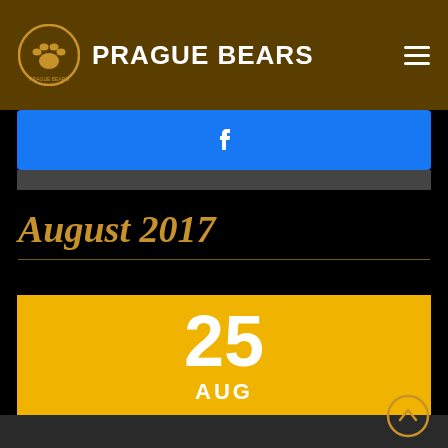PRAGUE BEARS
[Figure (logo): Prague Bears bear paw logo circle with text]
Facebook icon button (blue bar)
August 2017
25 AUG
[Figure (photo): Grayscale photograph of a man at a bar with wine bottles and glasses in the background]